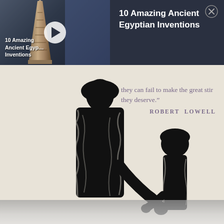[Figure (screenshot): Video overlay bar at top: dark navy background with a video thumbnail on the left showing an Egyptian obelisk with hieroglyphs and a play button, and text '10 Amazing Ancient Egyptian Inventions' on the right with a close (X) button.]
10 Amazing Ancient Egyptian Inventions
[Figure (illustration): Book cover illustration on cream/beige background showing black silhouette figures of a tall adult and a small child holding hands, rendered in a rough woodcut/ink style.]
they can fail to make the great stir they deserve."  ROBERT  LOWELL